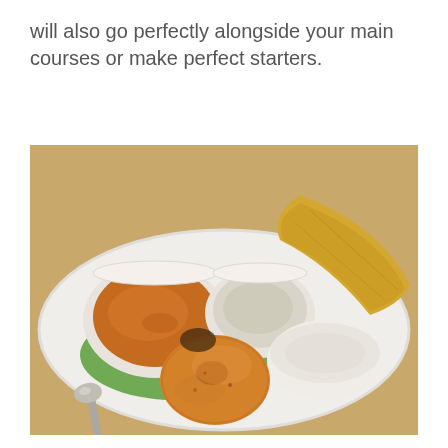will also go perfectly alongside your main courses or make perfect starters.
[Figure (photo): A white plate on a wooden table containing Indian food: a bowl of sambar (orange curry), a small bowl of white coconut chutney, a vada (fried lentil doughnut), an idli (steamed rice cake), and a dosa (crispy crepe) in the background. A spoon rests on a green banana leaf on the plate.]